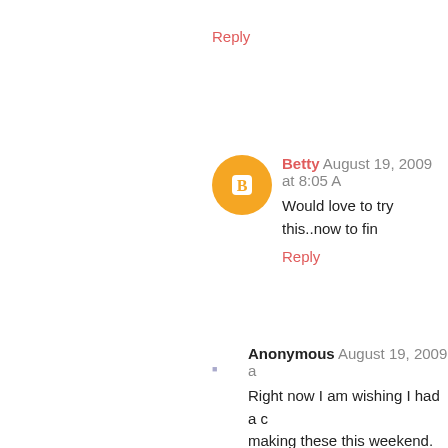Reply
Betty  August 19, 2009 at 8:05 A
Would love to try this..now to fin
Reply
Anonymous  August 19, 2009 a
Right now I am wishing I had a c making these this weekend. Tha
Reply
Chris  August 19, 2009 at 10:38
I just found your blog yesterday
I'm laughing about today's rec producing well. Can you imagin